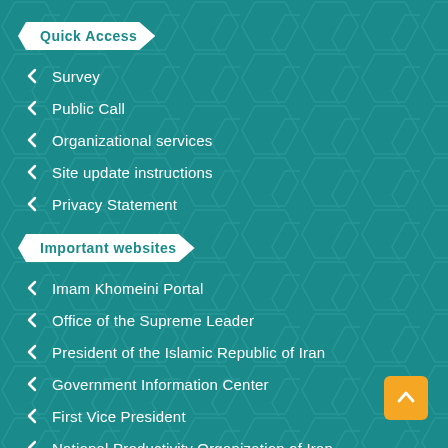Quick Access
Survey
Public Call
Organizational services
Site update instructions
Privacy Statement
Important websites
Imam Khomeini Portal
Office of the Supreme Leader
President of the Islamic Republic of Iran
Government Information Center
First Vice President
National Productivity Organization of Iran